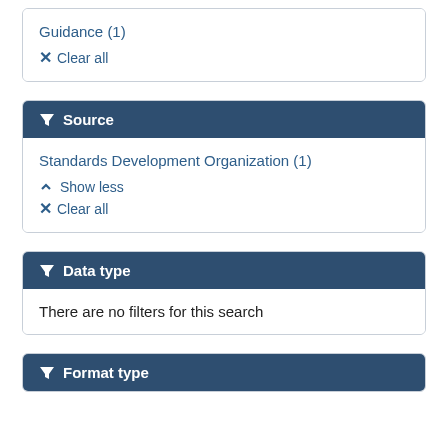Guidance (1)
✕ Clear all
▼ Source
Standards Development Organization (1)
^ Show less
✕ Clear all
▼ Data type
There are no filters for this search
▼ Format type